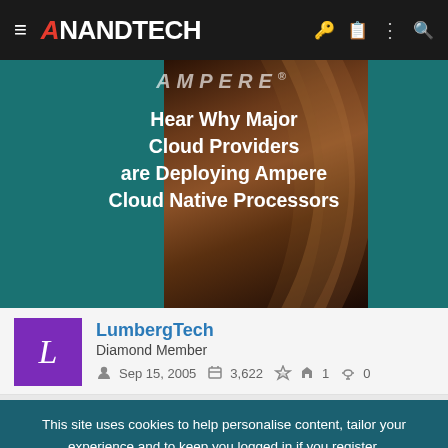AnandTech
[Figure (screenshot): Ampere promotional banner: 'Hear Why Major Cloud Providers are Deploying Ampere Cloud Native Processors']
LumbergTech
Diamond Member
Sep 15, 2005  3,622  1  0
This site uses cookies to help personalise content, tailor your experience and to keep you logged in if you register. By continuing to use this site, you are consenting to our use of cookies.